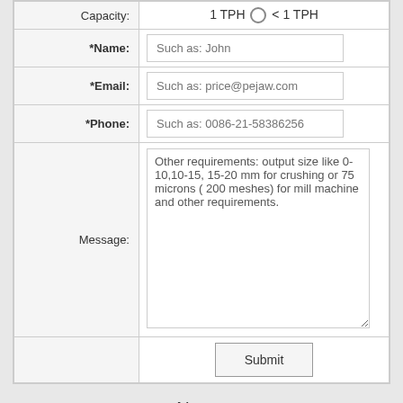| Field | Value |
| --- | --- |
| Capacity: | 1 TPH ○ < 1 TPH |
| *Name: | Such as: John |
| *Email: | Such as: price@pejaw.com |
| *Phone: | Such as: 0086-21-58386256 |
| Message: | Other requirements: output size like 0-10,10-15, 15-20 mm for crushing or 75 microns ( 200 meshes) for mill machine and other requirements. |
|  | Submit |
News:
[Figure (photo): Industrial machinery/crusher equipment photo]
harga mesin roller crusher dari china Mobile Crushers , - Know